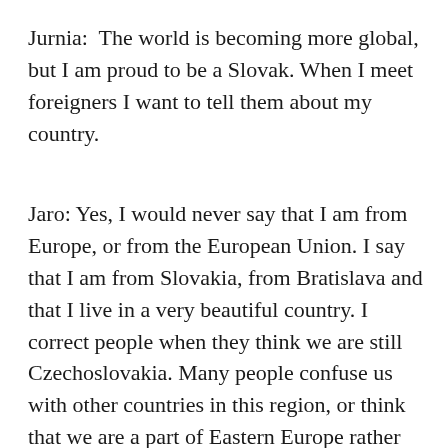Jurnia:  The world is becoming more global, but I am proud to be a Slovak. When I meet foreigners I want to tell them about my country.
Jaro: Yes, I would never say that I am from Europe, or from the European Union. I say that I am from Slovakia, from Bratislava and that I live in a very beautiful country. I correct people when they think we are still Czechoslovakia. Many people confuse us with other countries in this region, or think that we are a part of Eastern Europe rather than Central Europe. I am well aware of...